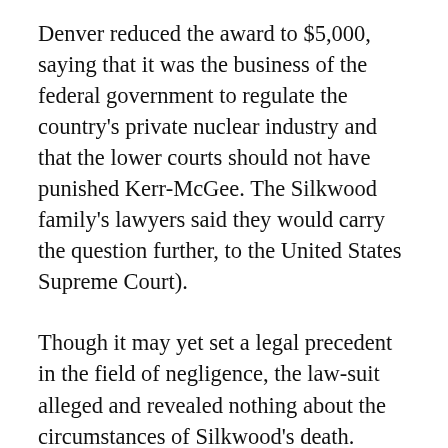Denver reduced the award to $5,000, saying that it was the business of the federal government to regulate the country's private nuclear industry and that the lower courts should not have punished Kerr-McGee. The Silkwood family's lawyers said they would carry the question further, to the United States Supreme Court).
Though it may yet set a legal precedent in the field of negligence, the law-suit alleged and revealed nothing about the circumstances of Silkwood's death. Before it reached trial, judicial rulings had narrowed the family's complaint to the single question of whether traces of plutonium discovered to have contaminated her apartment in the days before she died had got there through some fault of